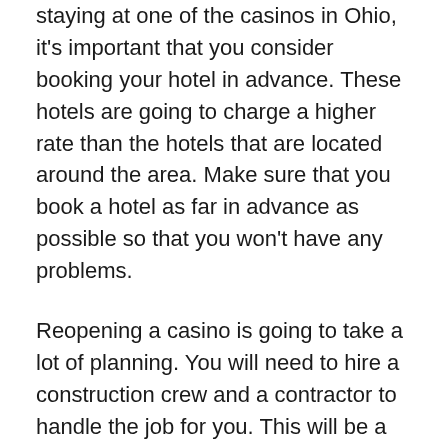staying at one of the casinos in Ohio, it's important that you consider booking your hotel in advance. These hotels are going to charge a higher rate than the hotels that are located around the area. Make sure that you book a hotel as far in advance as possible so that you won't have any problems.
Reopening a casino is going to take a lot of planning. You will need to hire a construction crew and a contractor to handle the job for you. This will be a huge expense that you'll have to pay for so you want to make sure that you budget for this as well. The casinos in Ohio that are up and running are going to be hiring staff members to help with the jobs that they have. Make sure that you hire someone that is well-experienced and will be able to handle the work that needs to be done.
Reopening a casino is going to be a very exciting